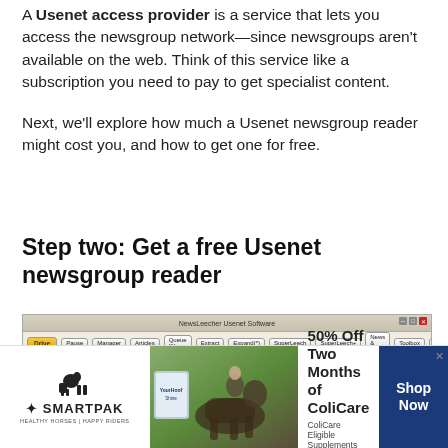A Usenet access provider is a service that lets you access the newsgroup network—since newsgroups aren't available on the web. Think of this service like a subscription you need to pay to get specialist content.

Next, we'll explore how much a Usenet newsgroup reader might cost you, and how to get one for free.
Step two: Get a free Usenet newsgroup reader
[Figure (screenshot): Screenshot of NewsLeecher Usenet Software showing the main interface with toolbar, sidebar with bookmarks and recent searches, and a list of ubuntu desktop amd64 files with downloaded status.]
[Figure (other): SmartPak advertisement banner: 50% Off Two Months of ColiCare. ColiCare Eligible Supplements. CODE: COLICARE10. Shop Now button. Features horse and rider photo.]